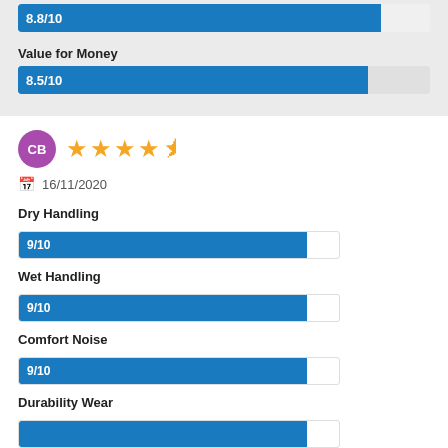[Figure (infographic): Bar showing 8.8/10 score (top, partially visible)]
Value for Money
[Figure (bar-chart): Value for Money]
[Figure (infographic): Reviewer avatar CB with 4.5 star rating and date 16/11/2020]
Dry Handling
[Figure (bar-chart): Dry Handling]
Wet Handling
[Figure (bar-chart): Wet Handling]
Comfort Noise
[Figure (bar-chart): Comfort Noise]
Durability Wear